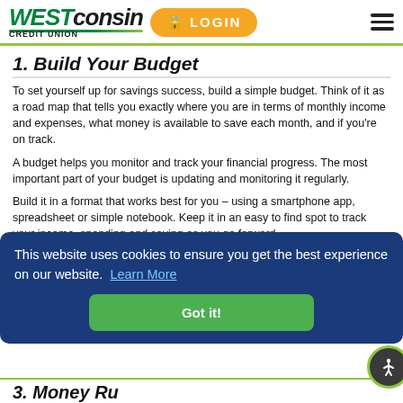WESTconsin CREDIT UNION | LOGIN | (hamburger menu)
1. Build Your Budget
To set yourself up for savings success, build a simple budget. Think of it as a road map that tells you exactly where you are in terms of monthly income and expenses, what money is available to save each month, and if you're on track.
A budget helps you monitor and track your financial progress. The most important part of your budget is updating and monitoring it regularly.
Build it in a format that works best for you – using a smartphone app, spreadsheet or simple notebook. Keep it in an easy to find spot to track your income, spending and saving as you go forward.
2. Set SMART Goals
This website uses cookies to ensure you get the best experience on our website.  Learn More
Got it!
3. Money Rules